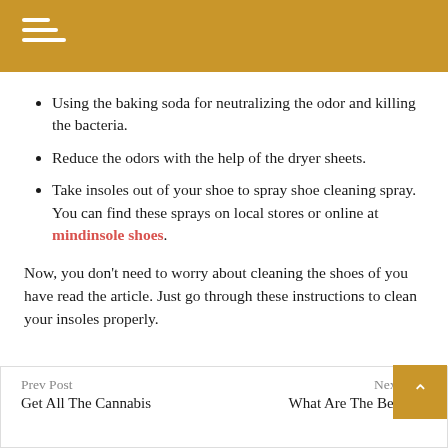Using the baking soda for neutralizing the odor and killing the bacteria.
Reduce the odors with the help of the dryer sheets.
Take insoles out of your shoe to spray shoe cleaning spray. You can find these sprays on local stores or online at mindinsole shoes.
Now, you don't need to worry about cleaning the shoes of you have read the article. Just go through these instructions to clean your insoles properly.
Prev Post | Get All The Cannabis ... | Next Post | What Are The Benefits | Of Altitude Training...